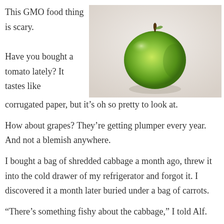This GMO food thing is scary.

Have you bought a tomato lately? It tastes like corrugated paper, but it's oh so pretty to look at.
[Figure (photo): A green apple (Granny Smith style) sitting on a white surface, photographed from the front.]
How about grapes? They're getting plumper every year. And not a blemish anywhere.
I bought a bag of shredded cabbage a month ago, threw it into the cold drawer of my refrigerator and forgot it. I discovered it a month later buried under a bag of carrots.
“There’s something fishy about the cabbage,” I told Alf.